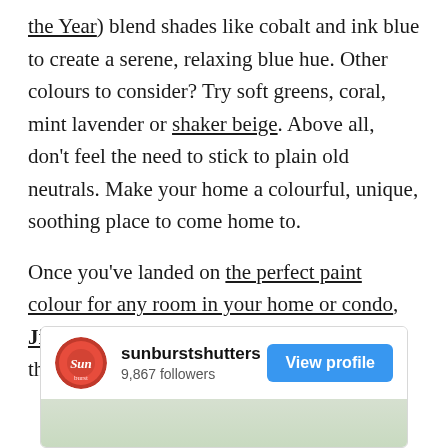the Year) blend shades like cobalt and ink blue to create a serene, relaxing blue hue. Other colours to consider? Try soft greens, coral, mint lavender or shaker beige. Above all, don't feel the need to stick to plain old neutrals. Make your home a colourful, unique, soothing place to come home to.

Once you've landed on the perfect paint colour for any room in your home or condo, Jiffy can connect you with a painting Pro that will help to bring your vision to life.
[Figure (screenshot): Instagram profile card for sunburstshutters with 9,867 followers, a View profile button, and a preview of an image below]